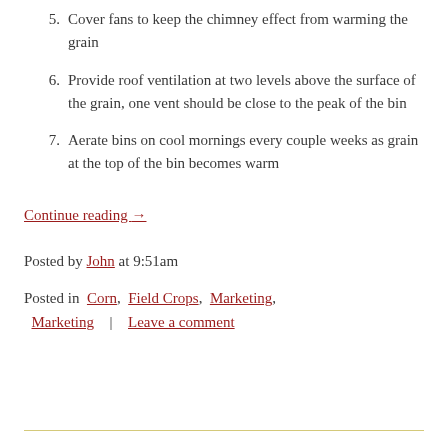5. Cover fans to keep the chimney effect from warming the grain
6. Provide roof ventilation at two levels above the surface of the grain, one vent should be close to the peak of the bin
7. Aerate bins on cool mornings every couple weeks as grain at the top of the bin becomes warm
Continue reading →
Posted by John at 9:51am
Posted in Corn, Field Crops, Marketing, Marketing | Leave a comment